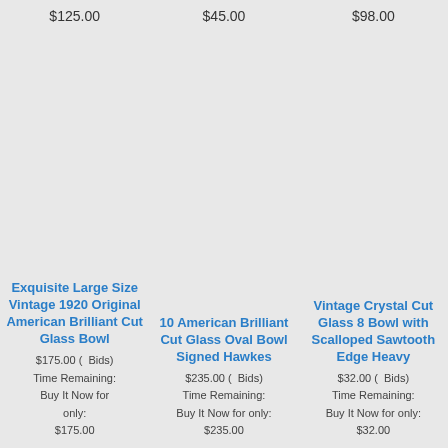$125.00
$45.00
$98.00
Exquisite Large Size Vintage 1920 Original American Brilliant Cut Glass Bowl
$175.00 (  Bids)
Time Remaining:
Buy It Now for only:
$175.00
10 American Brilliant Cut Glass Oval Bowl Signed Hawkes
$235.00 (  Bids)
Time Remaining:
Buy It Now for only:
$235.00
Vintage Crystal Cut Glass 8 Bowl with Scalloped Sawtooth Edge Heavy
$32.00 (  Bids)
Time Remaining:
Buy It Now for only:
$32.00